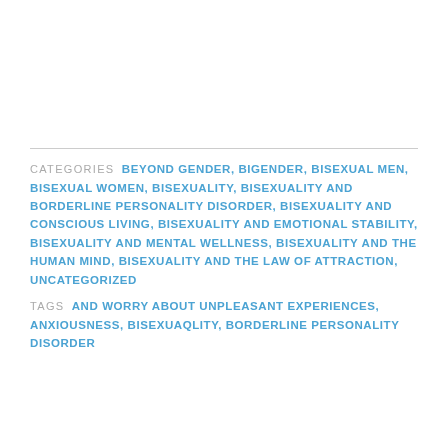CATEGORIES  BEYOND GENDER, BIGENDER, BISEXUAL MEN, BISEXUAL WOMEN, BISEXUALITY, BISEXUALITY AND BORDERLINE PERSONALITY DISORDER, BISEXUALITY AND CONSCIOUS LIVING, BISEXUALITY AND EMOTIONAL STABILITY, BISEXUALITY AND MENTAL WELLNESS, BISEXUALITY AND THE HUMAN MIND, BISEXUALITY AND THE LAW OF ATTRACTION, UNCATEGORIZED
TAGS  AND WORRY ABOUT UNPLEASANT EXPERIENCES, ANXIOUSNESS, BISEXUAQLITY, BORDERLINE PERSONALITY DISORDER